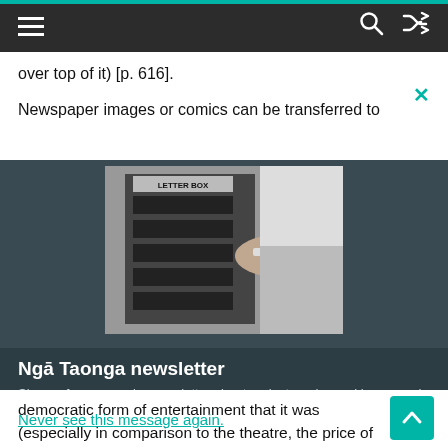Navigation bar with hamburger menu, search icon, and shuffle icon
over top of it) [p. 616].
Newspaper images or comics can be transferred to
[Figure (photo): Black and white photograph of a hand inserting mail into a letter box with 'LETTER BOX' text visible]
Ngā Taonga newsletter
Sign up for our regular newsletter about projects we're working on and fascinating items from our collections.
democratic form of entertainment that it was (especially in comparison to the theatre, the price of
Never see this message again.